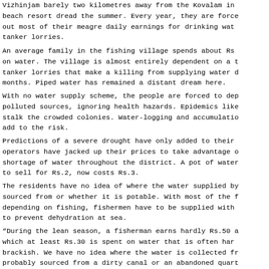Vizhinjam barely two kilometres away from the Kovalam in beach resort dread the summer. Every year, they are force out most of their meagre daily earnings for drinking wat tanker lorries.
An average family in the fishing village spends about Rs on water. The village is almost entirely dependent on a t tanker lorries that make a killing from supplying water d months. Piped water has remained a distant dream here.
With no water supply scheme, the people are forced to dep polluted sources, ignoring health hazards. Epidemics like stalk the crowded colonies. Water-logging and accumulatio add to the risk.
Predictions of a severe drought have only added to their operators have jacked up their prices to take advantage o shortage of water throughout the district. A pot of water to sell for Rs.2, now costs Rs.3.
The residents have no idea of where the water supplied by sourced from or whether it is potable. With most of the f depending on fishing, fishermen have to be supplied with to prevent dehydration at sea.
“During the lean season, a fisherman earns hardly Rs.50 a which at least Rs.30 is spent on water that is often har brackish. We have no idea where the water is collected fr probably sourced from a dirty canal or an abandoned quar knows?” laments T.Peter, State president of the Kerala Sw